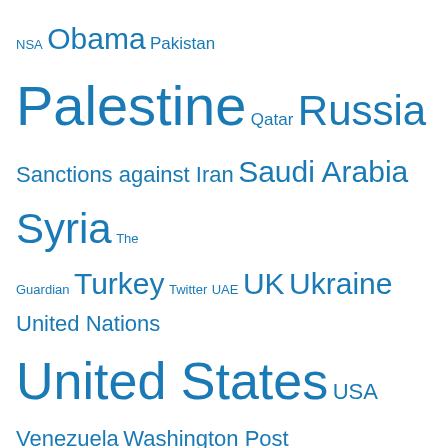[Figure (infographic): Tag cloud of topics: NSA, Obama, Pakistan, Palestine, Qatar, Russia, Sanctions against Iran, Saudi Arabia, Syria, The Guardian, Turkey, Twitter, UAE, UK, Ukraine, United Nations, United States, USA, Venezuela, Washington Post, West Bank, Yemen, Zionism — displayed in varying font sizes in blue]
Recent Comments
traducteur on Proof that Israel found seriou…
Sparrow on Fauci's Red Guards: Lawsuit Re…
Sparrow on Fauci's Red Guards: Lawsuit Re…
brianharryaustralia on American and NATO Disinformati…